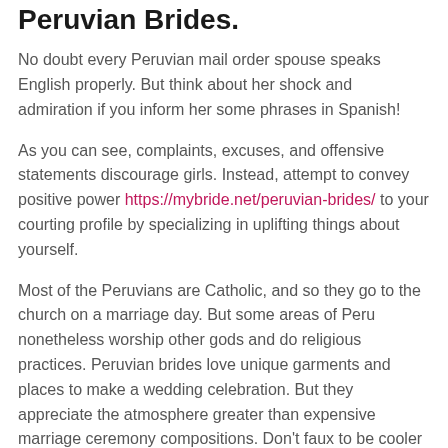Peruvian Brides.
No doubt every Peruvian mail order spouse speaks English properly. But think about her shock and admiration if you inform her some phrases in Spanish!
As you can see, complaints, excuses, and offensive statements discourage girls. Instead, attempt to convey positive power https://mybride.net/peruvian-brides/ to your courting profile by specializing in uplifting things about yourself.
Most of the Peruvians are Catholic, and so they go to the church on a marriage day. But some areas of Peru nonetheless worship other gods and do religious practices. Peruvian brides love unique garments and places to make a wedding celebration. But they appreciate the atmosphere greater than expensive marriage ceremony compositions. Don't faux to be cooler than you may be in front of your Peruvian bride.